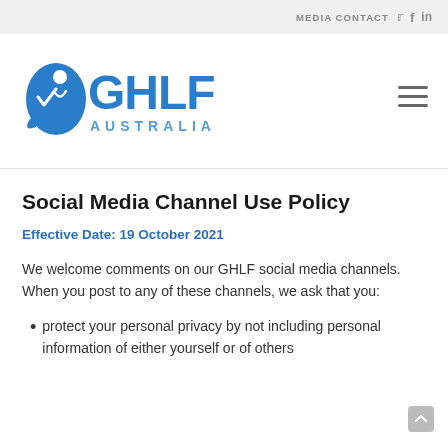MEDIA CONTACT
[Figure (logo): GHLF Australia logo — blue bird/person icon with GHLF text and AUSTRALIA subtitle in blue]
Social Media Channel Use Policy
Effective Date: 19 October 2021
We welcome comments on our GHLF social media channels. When you post to any of these channels, we ask that you:
protect your personal privacy by not including personal information of either yourself or of others